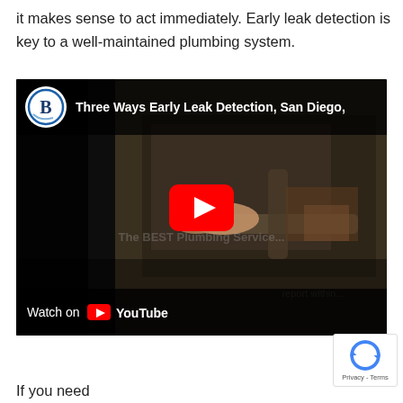it makes sense to act immediately. Early leak detection is key to a well-maintained plumbing system.
[Figure (screenshot): YouTube video embed showing 'Three Ways Early Leak Detection, San Diego,' with a video thumbnail of plumbing work, a red play button, and a 'Watch on YouTube' button at the bottom.]
If you need...